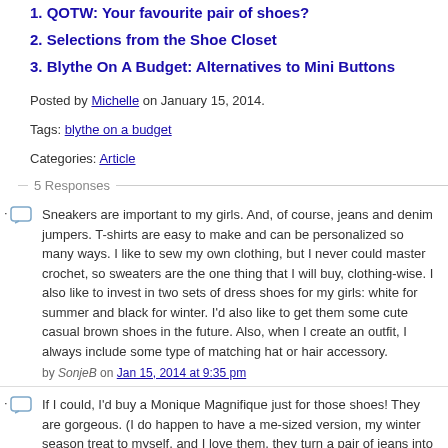1. QOTW: Your favourite pair of shoes?
2. Selections from the Shoe Closet
3. Blythe On A Budget: Alternatives to Mini Buttons
Posted by Michelle on January 15, 2014.
Tags: blythe on a budget
Categories: Article
5 Responses
Sneakers are important to my girls. And, of course, jeans and denim jumpers. T-shirts are easy to make and can be personalized so many ways. I like to sew my own clothing, but I never could master crochet, so sweaters are the one thing that I will buy, clothing-wise. I also like to invest in two sets of dress shoes for my girls: white for summer and black for winter. I’d also like to get them some cute casual brown shoes in the future. Also, when I create an outfit, I always include some type of matching hat or hair accessory.
by SonjeB on Jan 15, 2014 at 9:35 pm
If I could, I’d buy a Monique Magnifique just for those shoes! They are gorgeous. (I do happen to have a me-sized version, my winter season treat to myself, and I love them, they turn a pair of jeans into a statement!). Great post – my girls’ wardrobes are still coming together. Quick question – are those Blythe jeans? I’ve read somewhere that Monster High jeans fit Blythe?